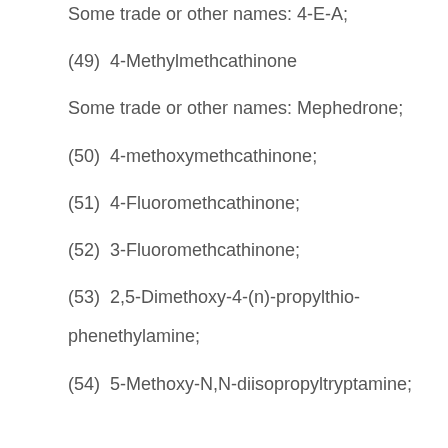Some trade or other names: 4-E-A;
(49)  4-Methylmethcathinone
Some trade or other names: Mephedrone;
(50)  4-methoxymethcathinone;
(51)  4-Fluoromethcathinone;
(52)  3-Fluoromethcathinone;
(53)  2,5-Dimethoxy-4-(n)-propylthio-phenethylamine;
(54)  5-Methoxy-N,N-diisopropyltryptamine;